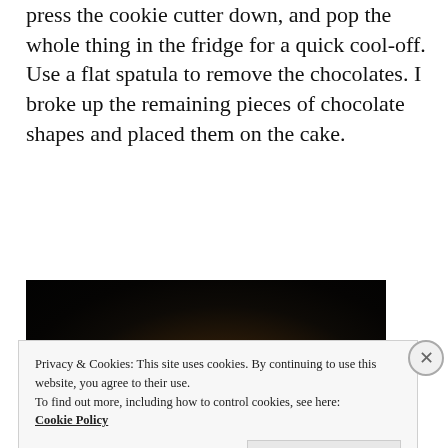press the cookie cutter down, and pop the whole thing in the fridge for a quick cool-off. Use a flat spatula to remove the chocolates. I broke up the remaining pieces of chocolate shapes and placed them on the cake.
[Figure (photo): Dark close-up photo of a hand reaching or pressing down, against a very dark background with subtle warm tones in the center.]
Privacy & Cookies: This site uses cookies. By continuing to use this website, you agree to their use.
To find out more, including how to control cookies, see here:
Cookie Policy
Close and accept